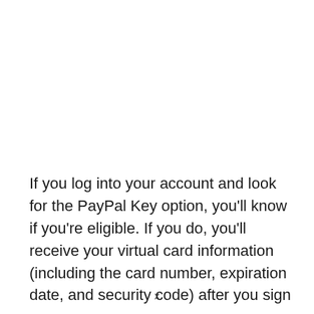If you log into your account and look for the PayPal Key option, you'll know if you're eligible. If you do, you'll receive your virtual card information (including the card number, expiration date, and security code) after you sign
x